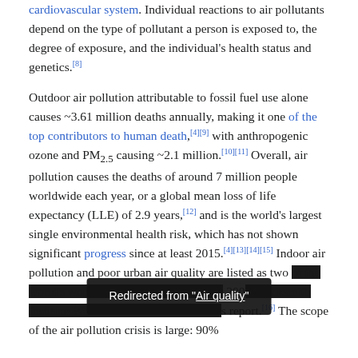cardiovascular system. Individual reactions to air pollutants depend on the type of pollutant a person is exposed to, the degree of exposure, and the individual's health status and genetics.[8]
Outdoor air pollution attributable to fossil fuel use alone causes ~3.61 million deaths annually, making it one of the top contributors to human death,[4][9] with anthropogenic ozone and PM2.5 causing ~2.1 million.[10][11] Overall, air pollution causes the deaths of around 7 million people worldwide each year, or a global mean loss of life expectancy (LLE) of 2.9 years,[12] and is the world's largest single environmental health risk, which has not shown significant progress since at least 2015.[4][13][14][15] Indoor air pollution and poor urban air quality are listed as two [obscured] 200[obscured]s report.[16] The scope of the air pollution crisis is large: 90%
Redirected from "Air quality"